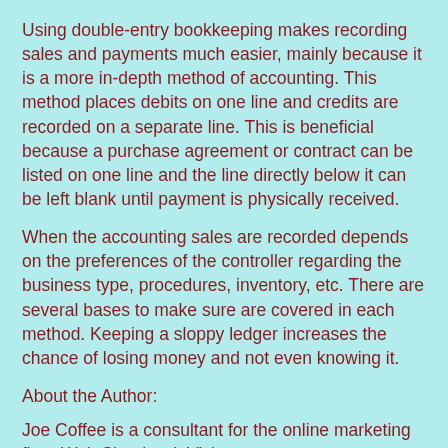Using double-entry bookkeeping makes recording sales and payments much easier, mainly because it is a more in-depth method of accounting. This method places debits on one line and credits are recorded on a separate line. This is beneficial because a purchase agreement or contract can be listed on one line and the line directly below it can be left blank until payment is physically received.
When the accounting sales are recorded depends on the preferences of the controller regarding the business type, procedures, inventory, etc. There are several bases to make sure are covered in each method. Keeping a sloppy ledger increases the chance of losing money and not even knowing it.
About the Author:
Joe Coffee is a consultant for the online marketing firm, Web Shepherd. Visit www.accountingandyou.com for tips about leading methods of accounting and small business accounting options.